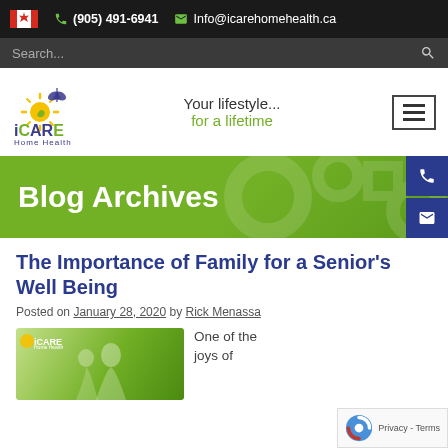(905) 491-6941  Info@icarehomehealth.ca
[Figure (logo): iCare Home Health logo with sun and butterfly icon]
Your lifestyle... for a lifetime
Blog Archives
The Importance of Family for a Senior's Well Being
Posted on January 28, 2020 by Rick Menassa
[Figure (photo): iCare-branded photo showing seniors with family]
One of the joys of